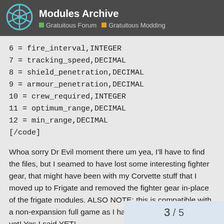Modules Archive | Gratuitous Forum | Gratuitous Modding
6 = fire_interval,INTEGER
7 = tracking_speed,DECIMAL
8 = shield_penetration,DECIMAL
9 = armour_penetration,DECIMAL
10 = crew_required,INTEGER
11 = optimum_range,DECIMAL
12 = min_range,DECIMAL
[/code]
Whoa sorry Dr Evil moment there um yea, I'll have to find the files, but I seamed to have lost some interesting fighter gear, that might have been with my Corvette stuff that I moved up to Frigate and removed the fighter gear in-place of the frigate modules. ALSO NOTE: this is compatible with a non-expansion full game as I have no mods to GSB just yet! Yes I said YET!
3 / 5